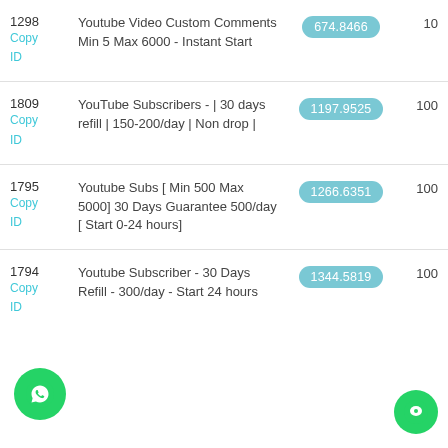| ID | Name | Price | Min |
| --- | --- | --- | --- |
| 1298
Copy ID | Youtube Video Custom Comments Min 5 Max 6000 - Instant Start | 674.8466 | 10 |
| 1809
Copy ID | YouTube Subscribers - | 30 days refill | 150-200/day | Non drop | | 1197.9525 | 100 |
| 1795
Copy ID | Youtube Subs [ Min 500 Max 5000] 30 Days Guarantee 500/day [ Start 0-24 hours] | 1266.6351 | 100 |
| 1794
Copy ID | Youtube Subscriber - 30 Days Refill - 300/day - Start 24 hours | 1344.5819 | 100 |